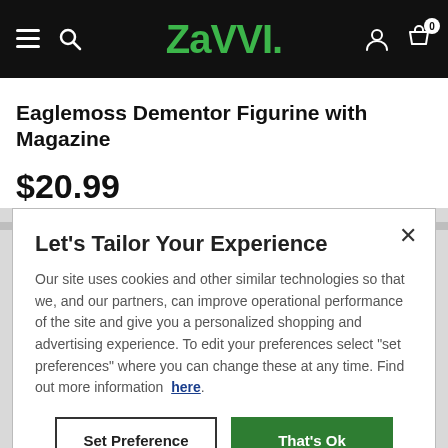ZAVVI
Eaglemoss Dementor Figurine with Magazine
$20.99
Let's Tailor Your Experience
Our site uses cookies and other similar technologies so that we, and our partners, can improve operational performance of the site and give you a personalized shopping and advertising experience. To edit your preferences select "set preferences" where you can change these at any time. Find out more information here.
Set Preference | That's Ok